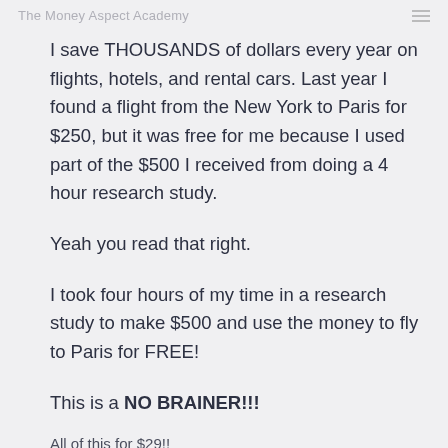The Money Aspect Academy
I save THOUSANDS of dollars every year on flights, hotels, and rental cars. Last year I found a flight from the New York to Paris for $250, but it was free for me because I used part of the $500 I received from doing a 4 hour research study.
Yeah you read that right.
I took four hours of my time in a research study to make $500 and use the money to fly to Paris for FREE!
This is a NO BRAINER!!!
All of this for $29!!